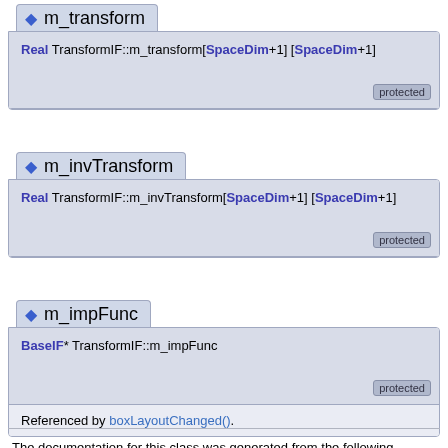◆ m_transform
Real TransformIF::m_transform[SpaceDim+1][SpaceDim+1]
◆ m_invTransform
Real TransformIF::m_invTransform[SpaceDim+1][SpaceDim+1]
◆ m_impFunc
BaseIF* TransformIF::m_impFunc
Referenced by boxLayoutChanged().
The documentation for this class was generated from the following